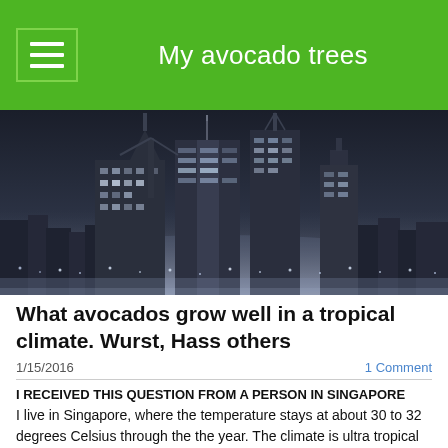My avocado trees
[Figure (photo): Black and white cityscape/skyline at night with tall skyscrapers and city lights]
What avocados grow well in a tropical climate. Wurst, Hass others
1/15/2016
1 Comment
I RECEIVED THIS QUESTION FROM A PERSON IN SINGAPORE
I live in Singapore, where the temperature stays at about 30 to 32 degrees Celsius through the the year. The climate is ultra tropical and there is no seasonal variation in temperature.
Can avocados bloom in such a climate. I know local West Indian varieties do well, but...